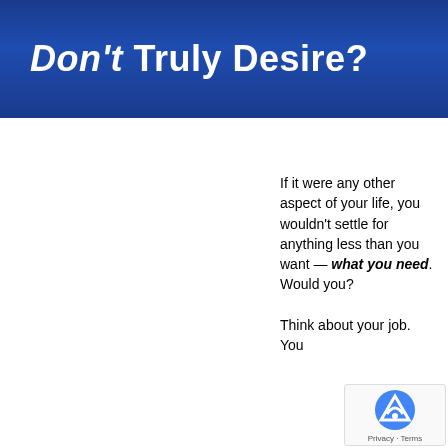Don't Truly Desire?
If it were any other aspect of your life, you wouldn't settle for anything less than you want — what you need. Would you?
Think about your job. You